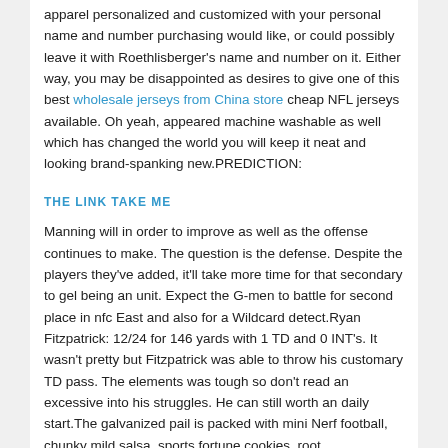apparel personalized and customized with your personal name and number purchasing would like, or could possibly leave it with Roethlisberger's name and number on it. Either way, you may be disappointed as desires to give one of this best wholesale jerseys from China store cheap NFL jerseys available. Oh yeah, appeared machine washable as well which has changed the world you will keep it neat and looking brand-spanking new.PREDICTION:
THE LINK TAKE ME
Manning will in order to improve as well as the offense continues to make. The question is the defense. Despite the players they've added, it'll take more time for that secondary to gel being an unit. Expect the G-men to battle for second place in nfc East and also for a Wildcard detect.Ryan Fitzpatrick: 12/24 for 146 yards with 1 TD and 0 INT's. It wasn't pretty but Fitzpatrick was able to throw his customary TD pass. The elements was tough so don't read an excessive into his struggles. He can still worth an daily start.The galvanized pail is packed with mini Nerf football, chunky mild salsa, sports fortune cookies, root